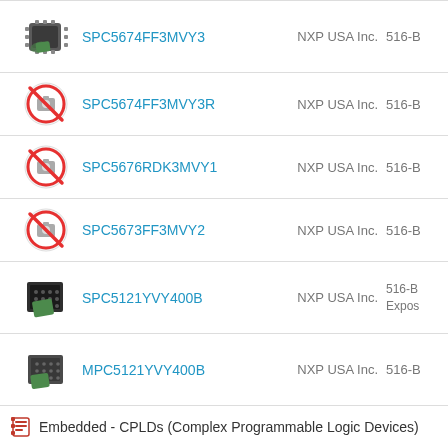| Icon | Part Number | Manufacturer | Code |
| --- | --- | --- | --- |
| [chip image] | SPC5674FF3MVY3 | NXP USA Inc. | 516-B |
| [no-photo] | SPC5674FF3MVY3R | NXP USA Inc. | 516-B |
| [no-photo] | SPC5676RDK3MVY1 | NXP USA Inc. | 516-B |
| [no-photo] | SPC5673FF3MVY2 | NXP USA Inc. | 516-B |
| [chip image] | SPC5121YVY400B | NXP USA Inc. | 516-B Expos |
| [chip image] | MPC5121YVY400B | NXP USA Inc. | 516-B |
Embedded - CPLDs (Complex Programmable Logic Devices)